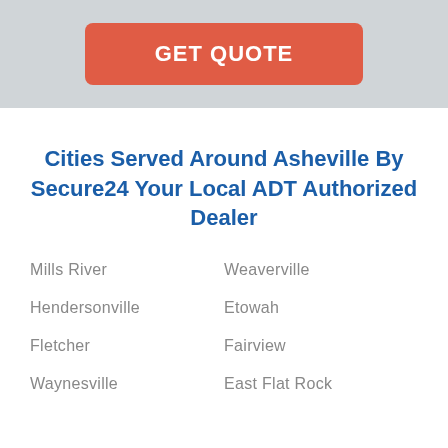[Figure (other): GET QUOTE button on grey banner background]
Cities Served Around Asheville By Secure24 Your Local ADT Authorized Dealer
Mills River
Weaverville
Hendersonville
Etowah
Fletcher
Fairview
Waynesville
East Flat Rock